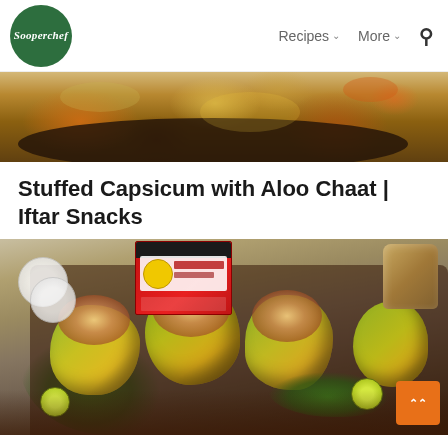Sooperchef | Recipes ∨ More ∨ 🔍
[Figure (photo): Top banner photo of food dish in a dark plate with colorful ingredients]
Stuffed Capsicum with Aloo Chaat | Iftar Snacks
[Figure (photo): Main photo of stuffed capsicum (yellow and green bell peppers filled with aloo chaat topped with chickpeas and vegetables) on a dark serving tray, garnished with lettuce and lime, with a SooperChef spice product box in background. Scroll-to-top orange button at bottom right.]